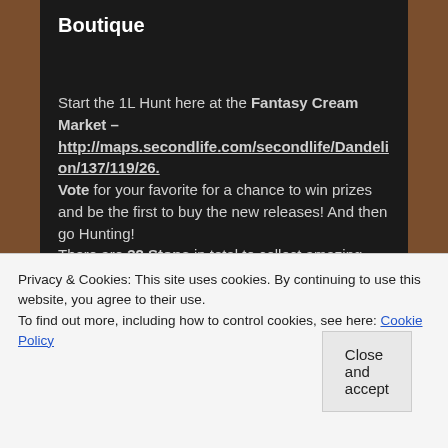Boutique
Start the 1L Hunt here at the Fantasy Cream Market – http://maps.secondlife.com/secondlife/Dandelion/137/119/26.
Vote for your favorite for a chance to win prizes and be the first to buy the new releases! And then go Hunting!
There are 32 Stops in total to collect amazing deleecious Hunt Items.
Privacy & Cookies: This site uses cookies. By continuing to use this website, you agree to their use.
To find out more, including how to control cookies, see here: Cookie Policy
Close and accept